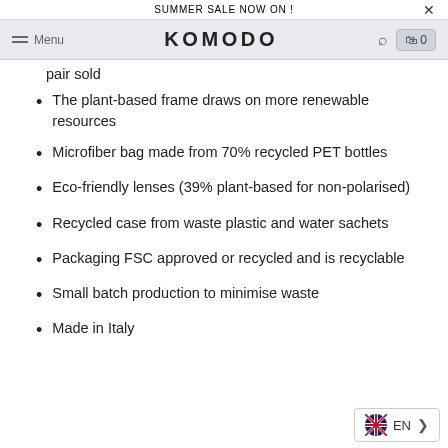SUMMER SALE NOW ON !
KOMODO  Menu
pair sold
The plant-based frame draws on more renewable resources
Microfiber bag made from 70% recycled PET bottles
Eco-friendly lenses (39% plant-based for non-polarised)
Recycled case from waste plastic and water sachets
Packaging FSC approved or recycled and is recyclable
Small batch production to minimise waste
Made in Italy